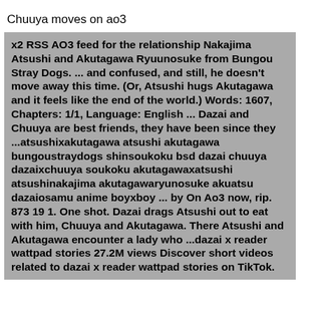Chuuya moves on ao3
x2 RSS AO3 feed for the relationship Nakajima Atsushi and Akutagawa Ryuunosuke from Bungou Stray Dogs. ... and confused, and still, he doesn't move away this time. (Or, Atsushi hugs Akutagawa and it feels like the end of the world.) Words: 1607, Chapters: 1/1, Language: English ... Dazai and Chuuya are best friends, they have been since they ...atsushixakutagawa atsushi akutagawa bungoustraydogs shinsoukoku bsd dazai chuuya dazaixchuuya soukoku akutagawaxatsushi atsushinakajima akutagawaryunosuke akuatsu dazaiosamu anime boyxboy ... by On Ao3 now, rip. 873 19 1. One shot. Dazai drags Atsushi out to eat with him, Chuuya and Akutagawa. There Atsushi and Akutagawa encounter a lady who ...dazai x reader wattpad stories 27.2M views Discover short videos related to dazai x reader wattpad stories on TikTok.